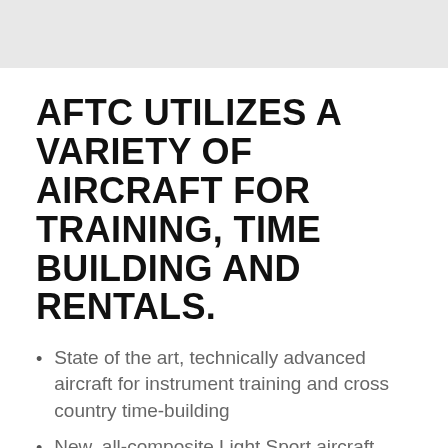AFTC UTILIZES A VARIETY OF AIRCRAFT FOR TRAINING, TIME BUILDING AND RENTALS.
State of the art, technically advanced aircraft for instrument training and cross country time-building
New, all-composite Light Sport aircraft
Twin-engine trainers
Simple and inexpensive single-engine